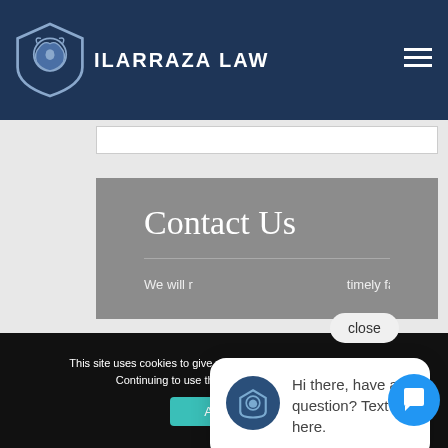ILARRAZA LAW
Contact Us
We will r... timely fa...
close
Hi there, have a question? Text us here.
This site uses cookies to give you the best experience possible. Continuing to use the site implies you agree.
Accept